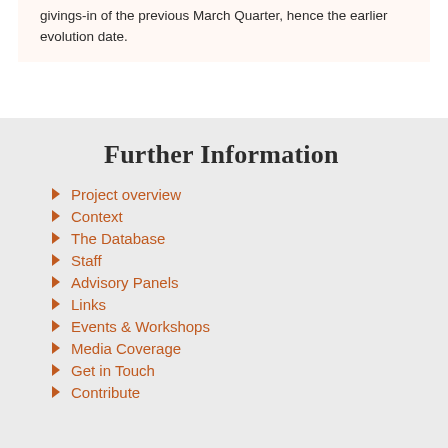givings-in of the previous March Quarter, hence the earlier evolution date.
Further Information
Project overview
Context
The Database
Staff
Advisory Panels
Links
Events & Workshops
Media Coverage
Get in Touch
Contribute